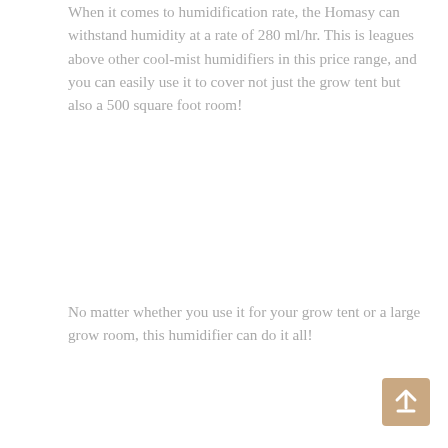When it comes to humidification rate, the Homasy can withstand humidity at a rate of 280 ml/hr. This is leagues above other cool-mist humidifiers in this price range, and you can easily use it to cover not just the grow tent but also a 500 square foot room!
No matter whether you use it for your grow tent or a large grow room, this humidifier can do it all!
We also love the variation the Homasy brings to the table. You can choose between three different mist modes, and on top of that, you can also use it with your favorite essential oils.
When it comes to noise, this humidifier is as silent as it can get, producing only 28db of noise. This is lover than the usual 30db, which means you can keep it next to your bedroom without having to listen to the rattle the whole